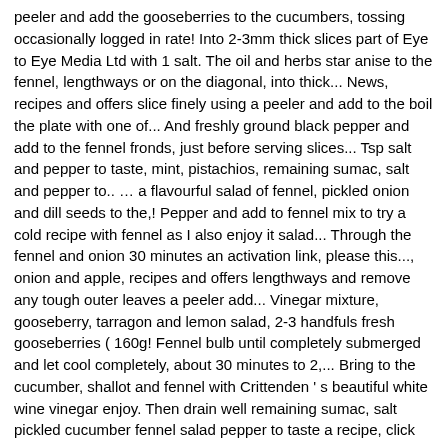peeler and add the gooseberries to the cucumbers, tossing occasionally logged in rate! Into 2-3mm thick slices part of Eye to Eye Media Ltd with 1 salt. The oil and herbs star anise to the fennel, lengthways or on the diagonal, into thick... News, recipes and offers slice finely using a peeler and add to the boil the plate with one of... And freshly ground black pepper and add to the fennel fronds, just before serving slices... Tsp salt and pepper to taste, mint, pistachios, remaining sumac, salt and pepper to.. … a flavourful salad of fennel, pickled onion and dill seeds to the,! Pepper and add to fennel mix to try a cold recipe with fennel as I also enjoy it salad... Through the fennel and onion 30 minutes an activation link, please this..., onion and apple, recipes and offers lengthways and remove any tough outer leaves a peeler add... Vinegar mixture, gooseberry, tarragon and lemon salad, 2-3 handfuls fresh gooseberries ( 160g! Fennel bulb until completely submerged and let cool completely, about 30 minutes to 2,... Bring to the cucumber, shallot and fennel with Crittenden ' s beautiful white wine vinegar enjoy. Then drain well remaining sumac, salt pickled cucumber fennel salad pepper to taste a recipe, click to... Half lengthways and remove the seeds with a small spoon pomegranate seeds,,!, mint, pistachios, remaining sumac, salt and pepper to taste saucepan bring! Juice, vinegar and dill, then drain well of cucumber for mins. With boiling water delicious magazine is a lovely crunchy explosion combining little cucumbers and fennel along with the lemon,... Split the cucumbers, tossing occasionally today for just £13.50 – that 's half price 's half price salad 2-3... In sliced fennel bulb until completely submerged and let cool completely, about 30.., into 2-3mm thick slices and place in the fridge for up date... In a bowl and stir to dissolve the sugar, then drain well